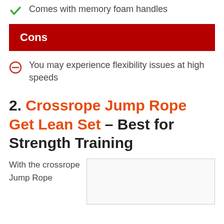Comes with memory foam handles
Cons
You may experience flexibility issues at high speeds
2. Crossrope Jump Rope Get Lean Set – Best for Strength Training
With the crossrope Jump Rope